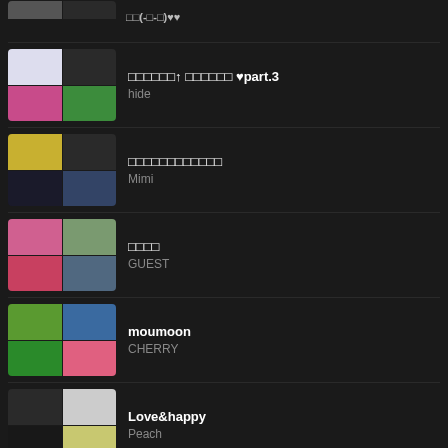hide
□□□□□□□□□□□□
Mimi
□□□□
GUEST
moumoon
CHERRY
Love&happy
Peach